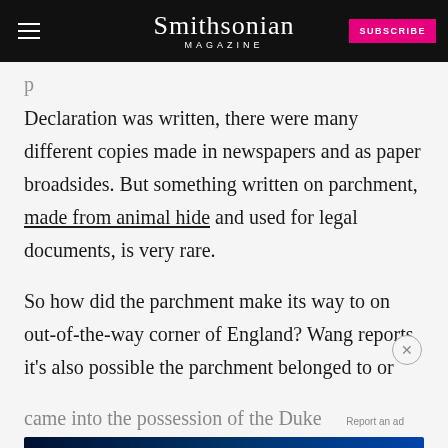Smithsonian MAGAZINE
Declaration was written, there were many different copies made in newspapers and as paper broadsides. But something written on parchment, made from animal hide and used for legal documents, is very rare.
So how did the parchment make its way to on out-of-the-way corner of England? Wang reports it's also possible the parchment belonged to or came into the possession of the Duke of Richmond...
[Figure (other): Disney bundle advertisement banner with Hulu, Disney+, ESPN+ logos and GET THE DISNEY BUNDLE call to action]
Independence. Records indicate that the